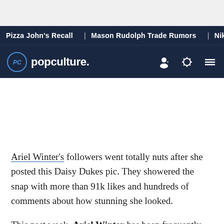Pizza John's Recall | Mason Rudolph Trade Rumors | Nikki A
[Figure (logo): PopCulture.com logo with navigation bar on dark navy background]
[Figure (other): Advertisement/blank space placeholder]
Ariel Winter's followers went totally nuts after she posted this Daisy Dukes pic. They showered the snap with more than 91k likes and hundreds of comments about how stunning she looked.
This past week, Ariel Winter has been frequently torching